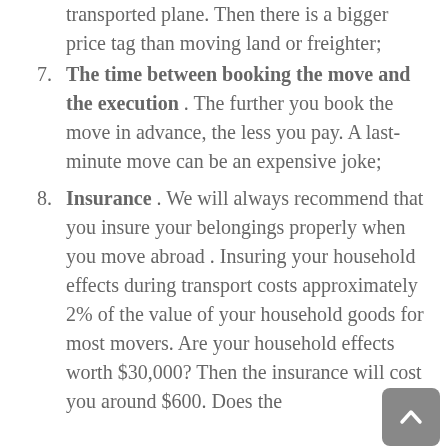transported plane. Then there is a bigger price tag than moving land or freighter;
7. The time between booking the move and the execution . The further you book the move in advance, the less you pay. A last-minute move can be an expensive joke;
8. Insurance . We will always recommend that you insure your belongings properly when you move abroad . Insuring your household effects during transport costs approximately 2% of the value of your household goods for most movers. Are your household effects worth $30,000? Then the insurance will cost you around $600. Does the